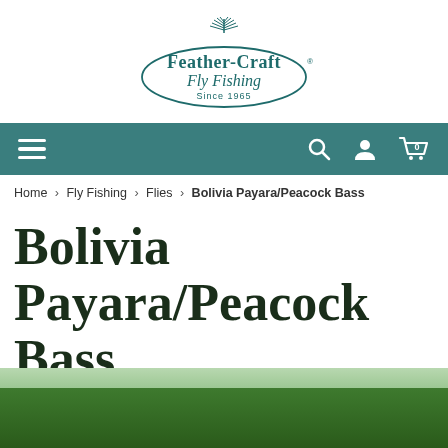[Figure (logo): Feather-Craft Fly Fishing logo — oval with decorative fly graphic above, serif text 'Feather-Craft' and script 'Fly Fishing', 'Since 1965' below, teal/dark green color]
Navigation bar with hamburger menu icon on left, search icon, user/account icon, and cart icon (0 items) on right, teal background
Home › Fly Fishing › Flies › Bolivia Payara/Peacock Bass
Bolivia Payara/Peacock Bass
[Figure (photo): Outdoor photo showing lush tropical/jungle trees and vegetation, green canopy, natural river setting in Bolivia]